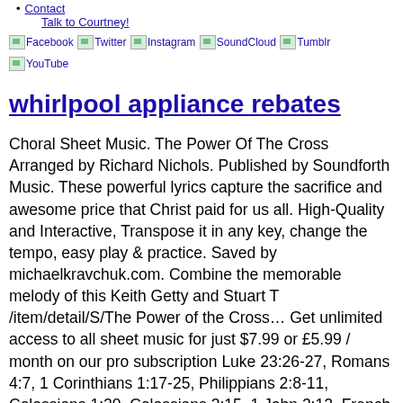Contact
Talk to Courtney!
[Figure (other): Social media icon links: Facebook, Twitter, Instagram, SoundCloud, Tumblr, YouTube]
whirlpool appliance rebates
Choral Sheet Music. The Power Of The Cross Arranged by Richard Nichols. Published by Soundforth Music. These powerful lyrics capture the sacrifice and awesome price that Christ paid for us all. High-Quality and Interactive, Transpose it in any key, change the tempo, easy play & practice. Saved by michaelkravchuk.com. Combine the memorable melody of this Keith Getty and Stuart T /item/detail/S/The Power of the Cross… Get unlimited access to all sheet music for just $7.99 or £5.99 / month on our pro subscription Luke 23:26-27, Romans 4:7, 1 Corinthians 1:17-25, Philippians 2:8-11, Colossians 1:20, Colossians 2:15, 1 John 2:12. French Horn player Richard A. Nichols has c… Piano arrangements! A contemporary gem! Arrangement for Piano, SSA and Vocal. These arrangements are great – we have a worship band and don't usually include many hymns, but since I've found this site I've used at least one per week – great job! Download and Print Mighty Is The Power Of The Cross sheet music for Piano, Vocal & Guitar (Right-Hand